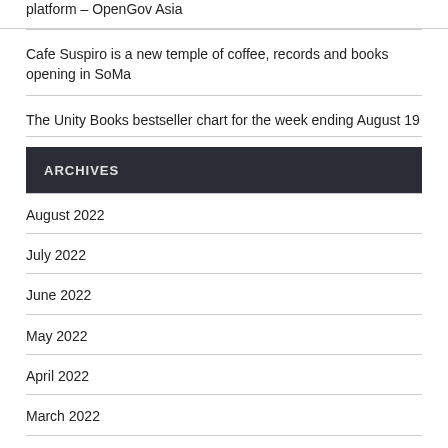platform – OpenGov Asia
Cafe Suspiro is a new temple of coffee, records and books opening in SoMa
The Unity Books bestseller chart for the week ending August 19
ARCHIVES
August 2022
July 2022
June 2022
May 2022
April 2022
March 2022